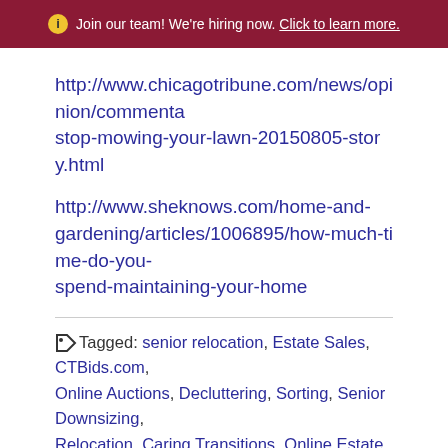Join our team! We're hiring now. Click to learn more.
http://www.chicagotribune.com/news/opinion/commentary/stop-mowing-your-lawn-20150805-story.html
http://www.sheknows.com/home-and-gardening/articles/1006895/how-much-time-do-you-spend-maintaining-your-home
Tagged: senior relocation, Estate Sales, CTBids.com, Online Auctions, Decluttering, Sorting, Senior Downsizing, Relocation, Caring Transitions, Online Estate Sales, CTBids, Thrifting, Online Shopping, Budget Friendly, Remodel, Downsizing
Learn About Us